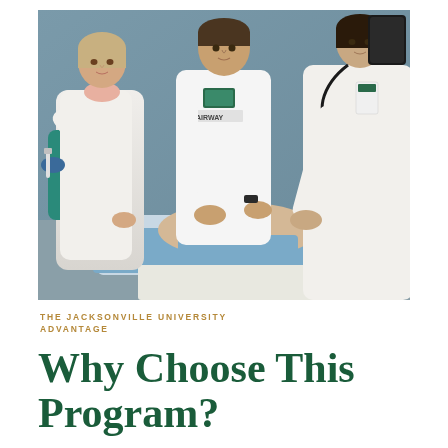[Figure (photo): Three nursing or medical students in white coats and scrubs practicing a medical simulation on a mannequin patient lying on a bed. One student on the left is holding a syringe, the center student wears a name badge and an AIRWAY label on their shirt, and the student on the right is wearing a stethoscope. The setting appears to be a clinical simulation lab with a gray wall background.]
THE JACKSONVILLE UNIVERSITY ADVANTAGE
Why Choose This Program?